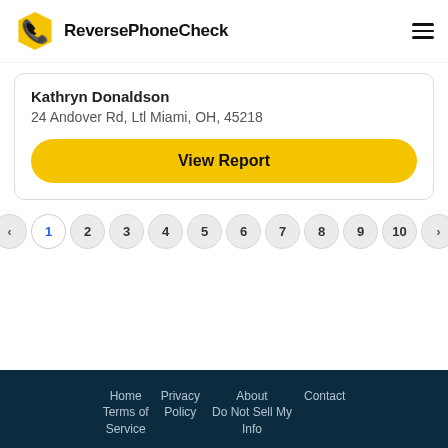ReversePhoneCheck
Kathryn Donaldson
24 Andover Rd, Ltl Miami, OH, 45218
View Report
<< < 1 2 3 4 5 6 7 8 9 10 > >>
Home Terms of Service  Privacy Policy  About Do Not Sell My Info  Contact